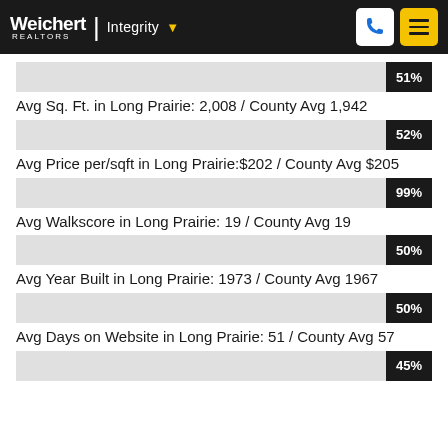Weichert | Integrity
[Figure (bar-chart): 51%]
Avg Sq. Ft. in Long Prairie: 2,008 / County Avg 1,942
[Figure (bar-chart): 52%]
Avg Price per/sqft in Long Prairie:$202 / County Avg $205
[Figure (bar-chart): 99%]
Avg Walkscore in Long Prairie: 19 / County Avg 19
[Figure (bar-chart): 50%]
Avg Year Built in Long Prairie: 1973 / County Avg 1967
[Figure (bar-chart): 50%]
Avg Days on Website in Long Prairie: 51 / County Avg 57
[Figure (bar-chart): 45%]